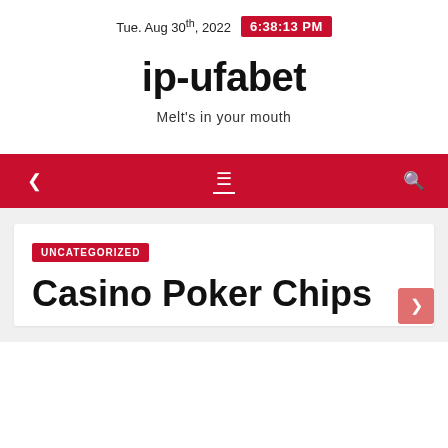Tue. Aug 30th, 2022  6:38:13 PM
ip-ufabet
Melt's in your mouth
navigation bar
UNCATEGORIZED
Casino Poker Chips